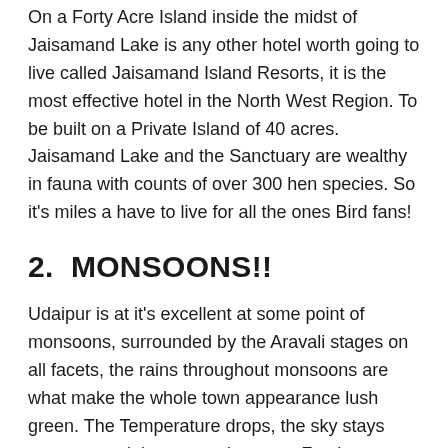On a Forty Acre Island inside the midst of Jaisamand Lake is any other hotel worth going to live called Jaisamand Island Resorts, it is the most effective hotel in the North West Region. To be built on a Private Island of 40 acres. Jaisamand Lake and the Sanctuary are wealthy in fauna with counts of over 300 hen species. So it's miles a have to live for all the ones Bird fans!
2.  MONSOONS!!
Udaipur is at it's excellent at some point of monsoons, surrounded by the Aravali stages on all facets, the rains throughout monsoons are what make the whole town appearance lush green. The Temperature drops, the sky stays overcast and the  roasted corn on Fatehsagar , lengthy drives on Rani street  gradual drives on Badi lake are just a few things.